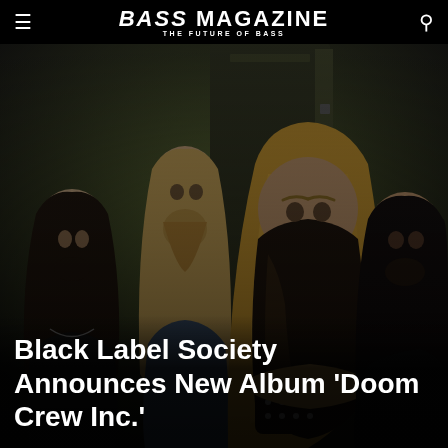BASS MAGAZINE THE FUTURE OF BASS
[Figure (photo): Black Label Society band photo: four long-haired metal musicians posed against a dark industrial background. The central figure has extremely long blonde/brown hair and a very long beard, wearing leather gauntlets with studs and a sleeveless denim vest. Three other band members surround him.]
Black Label Society Announces New Album 'Doom Crew Inc.'